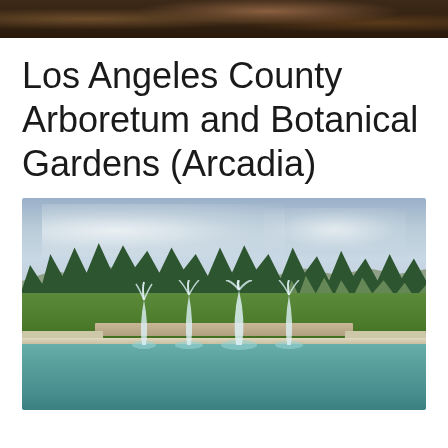[Figure (photo): Partial top image, likely showing some decorative or architectural element with dark warm tones]
Los Angeles County Arboretum and Botanical Gardens (Arcadia)
[Figure (photo): Outdoor garden photo showing a fountain pool with multiple water jets in the foreground, green lawn and tall trees in the background, and partly cloudy sky. The Los Angeles County Arboretum and Botanical Gardens in Arcadia, California.]